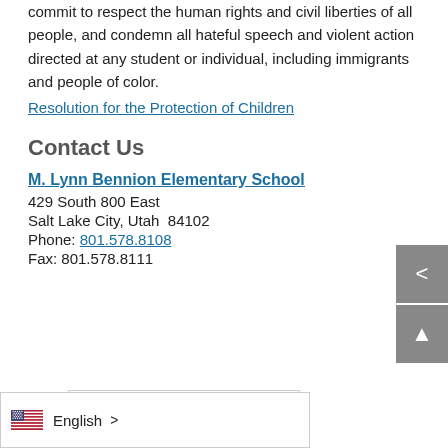commit to respect the human rights and civil liberties of all people, and condemn all hateful speech and violent action directed at any student or individual, including immigrants and people of color.
Resolution for the Protection of Children
Contact Us
M. Lynn Bennion Elementary School
429 South 800 East
Salt Lake City, Utah  84102
Phone: 801.578.8108
Fax: 801.578.8111